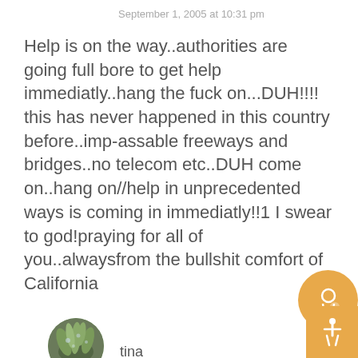September 1, 2005 at 10:31 pm
Help is on the way..authorities are going full bore to get help immediatly..hang the fuck on...DUH!!!! this has never happened in this country before..imp-assable freeways and bridges..no telecom etc..DUH come on..hang on//help in unprecedented ways is coming in immediatly!!1 I swear to god!praying for all of you..alwaysfrom the bullshit comfort of California
[Figure (photo): Circular avatar photo showing a plant/grass image in purple and green tones]
tina
September 1, 2005 at 10:25 pm